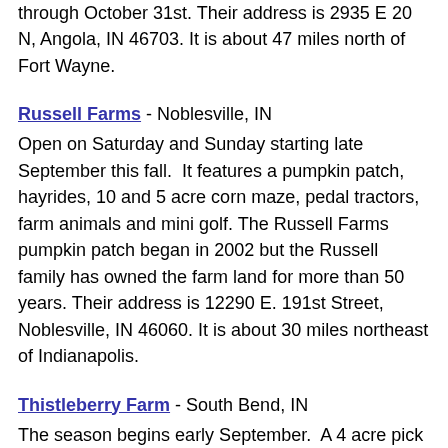through October 31st. Their address is 2935 E 20 N, Angola, IN 46703. It is about 47 miles north of Fort Wayne.
Russell Farms - Noblesville, IN
Open on Saturday and Sunday starting late September this fall.  It features a pumpkin patch, hayrides, 10 and 5 acre corn maze, pedal tractors, farm animals and mini golf. The Russell Farms pumpkin patch began in 2002 but the Russell family has owned the farm land for more than 50 years. Their address is 12290 E. 191st Street, Noblesville, IN 46060. It is about 30 miles northeast of Indianapolis.
Thistleberry Farm - South Bend, IN
The season begins early September.  A 4 acre pick your own pumpkin patch with thousands of pumpkins. Hayrides (weekends), cornfield maze, petting farm, cow train, jumping pillow, corn cannon. Open on weekends in September and daily in October (except Halloween). Their address is 3190 Merriman Rd, South Bend, IN 46614.